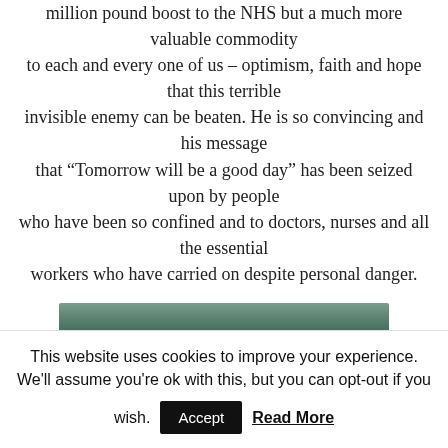million pound boost to the NHS but a much more valuable commodity to each and every one of us – optimism, faith and hope that this terrible invisible enemy can be beaten. He is so convincing and his message that “Tomorrow will be a good day” has been seized upon by people who have been so confined and to doctors, nurses and all the essential workers who have carried on despite personal danger.
[Figure (photo): Partial image of a landscape/sky, appearing at the bottom of the article content area]
This website uses cookies to improve your experience. We'll assume you're ok with this, but you can opt-out if you wish. Accept  Read More